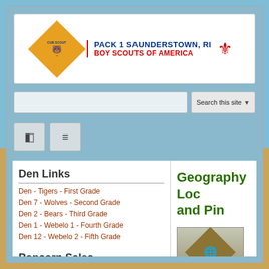[Figure (logo): Pack 1 Saunderstown RI Boy Scouts of America header logo with Cub Scout diamond emblem and BSA fleur-de-lis]
Search this site
Den Links
Den - Tigers - First Grade
Den 7 - Wolves - Second Grade
Den 2 - Bears - Third Grade
Den 1 - Webelo 1 - Fourth Grade
Den 12 - Webelo 2 - Fifth Grade
Popcorn Sales
2015 Pack One Saunderstown Popcorn Fundraiser
Geography Loc and Pin
[Figure (photo): Geography Loop and Pin badge/award in a brown diamond-shaped frame with a globe icon]